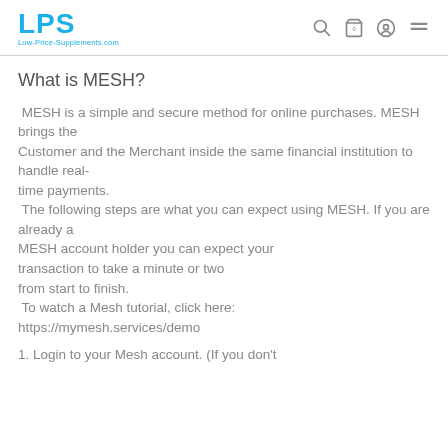LPS Low-Price-Supplements.com
What is MESH?
MESH is a simple and secure method for online purchases. MESH brings the Customer and the Merchant inside the same financial institution to handle real-time payments. The following steps are what you can expect using MESH. If you are already a MESH account holder you can expect your transaction to take a minute or two from start to finish. To watch a Mesh tutorial, click here: https://mymesh.services/demo
1. Login to your Mesh account. (If you don't